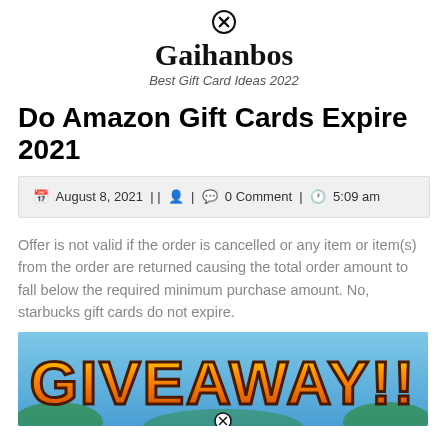Gaihanbos — Best Gift Card Ideas 2022
Do Amazon Gift Cards Expire 2021
August 8, 2021 || 0 Comment | 5:09 am
Offer is not valid if the order is cancelled or any item or item(s) from the order are returned causing the total order amount to fall below the required minimum purchase amount. No, starbucks gift cards do not expire.
[Figure (photo): GIVEAWAY!! text in large orange/yellow gradient letters on a stylized gaming background]